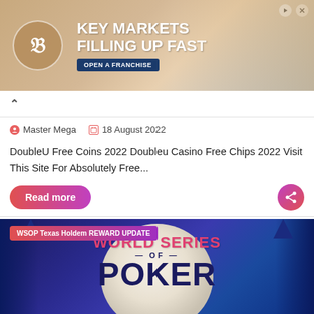[Figure (photo): Advertisement banner for a bakery franchise - woman smiling with pastries, logo with B, text KEY MARKETS FILLING UP FAST with OPEN A FRANCHISE button]
Master Mega  18 August 2022
DoubleU Free Coins 2022 Doubleu Casino Free Chips 2022 Visit This Site For Absolutely Free...
Read more
[Figure (photo): WSOP Texas Holdem REWARD UPDATE - World Series of Poker logo on a large poker chip against blue background]